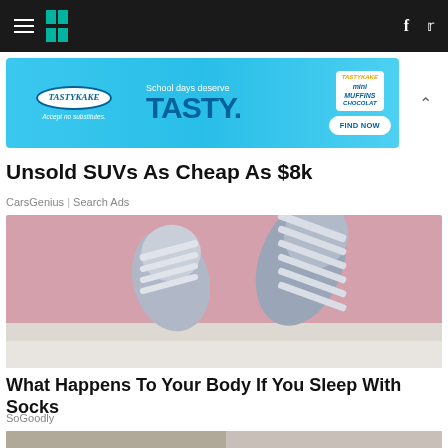HuffPost navigation bar with hamburger menu, logo, Facebook and Twitter icons
[Figure (screenshot): Tastykake advertisement banner: School days deserve TASTY. mini MUFFINS. FIND NOW button.]
Unsold SUVs As Cheap As $8k
CarsGenius | Search Ads
[Figure (photo): Photo of two feet wearing grey and white striped fuzzy socks resting against a pink background on bed sheets.]
What Happens To Your Body If You Sleep With Socks
SoGoodly